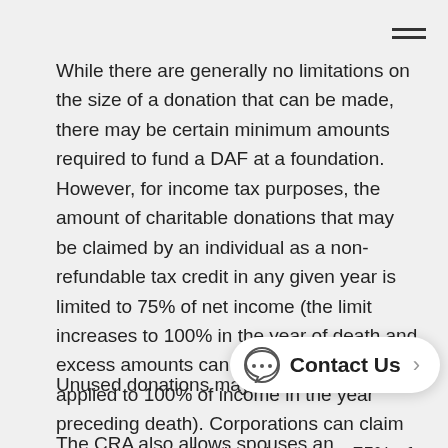While there are generally no limitations on the size of a donation that can be made, there may be certain minimum amounts required to fund a DAF at a foundation. However, for income tax purposes, the amount of charitable donations that may be claimed by an individual as a non-refundable tax credit in any given year is limited to 75% of net income (the limit increases to 100% in the year of death and excess amounts can be carried back and applied to 100% of income in the year preceding death). Corporations can claim a tax deduction for donations up to 75% of their net income for tax purposes.
Unused donations may be carri The CRA also allows spouses and common-law partners to combine their receipts and allow one person to claim